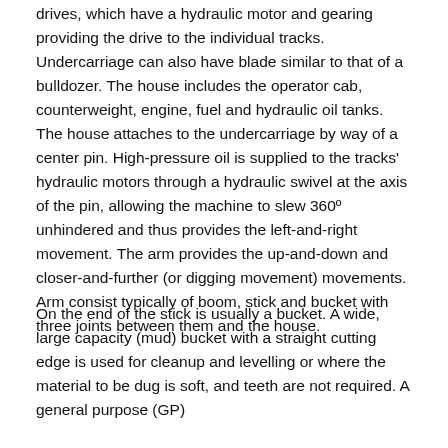drives, which have a hydraulic motor and gearing providing the drive to the individual tracks. Undercarriage can also have blade similar to that of a bulldozer. The house includes the operator cab, counterweight, engine, fuel and hydraulic oil tanks. The house attaches to the undercarriage by way of a center pin. High-pressure oil is supplied to the tracks' hydraulic motors through a hydraulic swivel at the axis of the pin, allowing the machine to slew 360º unhindered and thus provides the left-and-right movement. The arm provides the up-and-down and closer-and-further (or digging movement) movements. Arm consist typically of boom, stick and bucket with three joints between them and the house.
On the end of the stick is usually a bucket. A wide, large capacity (mud) bucket with a straight cutting edge is used for cleanup and levelling or where the material to be dug is soft, and teeth are not required. A general purpose (GP)